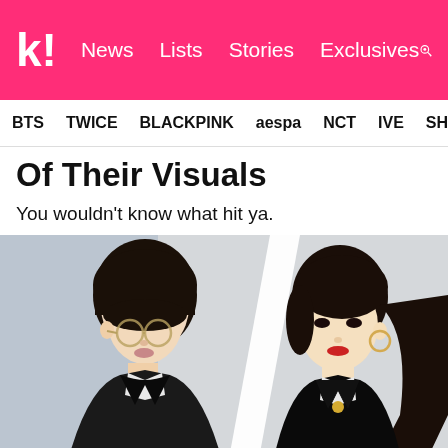k! News  Lists  Stories  Exclusives
BTS  TWICE  BLACKPINK  aespa  NCT  IVE  SHIN...
Of Their Visuals
You wouldn't know what hit ya.
[Figure (photo): Split photo showing two K-pop celebrities side by side: on the left, a young man with dark bowl-cut hair and round glasses wearing a black leather jacket; on the right, a young woman with dark hair pulled back, wearing a black blazer and hoop earrings.]